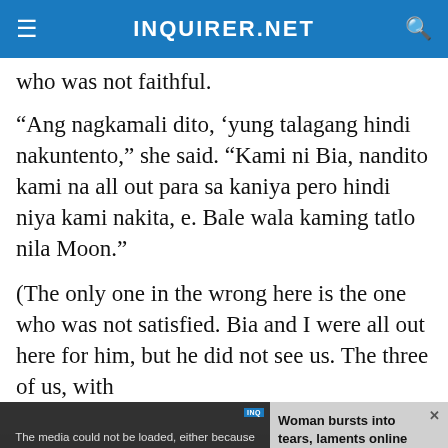INQUIRER.NET
who was not faithful.
“Ang nagkamali dito, ‘yung talagang hindi nakuntento,” she said. “Kami ni Bia, nandito kami na all out para sa kaniya pero hindi niya kami nakita, e. Bale wala kaming tatlo nila Moon.”
(The only one in the wrong here is the one who was not satisfied. Bia and I were all out here for him, but he did not see us. The three of us, with
[Figure (screenshot): Embedded video player showing an error message: 'The media could not be loaded, either because the server or network failed or because the format is not supported.' with a thumbnail showing text WOMAN BURSTS INTO TEARS, LAMENTS ONLINE APPLICATION FOR DSWD'S EDUCATIONAL AID. Alongside it is a related article panel with title 'Woman bursts into tears, laments online application for DSWD’s education...' and a close (X) button at the bottom.]